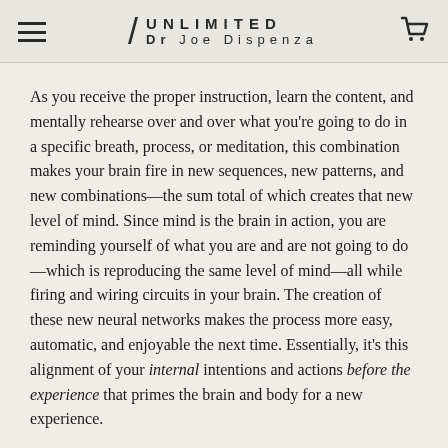/ UNLIMITED Dr Joe Dispenza
As you receive the proper instruction, learn the content, and mentally rehearse over and over what you're going to do in a specific breath, process, or meditation, this combination makes your brain fire in new sequences, new patterns, and new combinations—the sum total of which creates that new level of mind. Since mind is the brain in action, you are reminding yourself of what you are and are not going to do—which is reproducing the same level of mind—all while firing and wiring circuits in your brain. The creation of these new neural networks makes the process more easy, automatic, and enjoyable the next time. Essentially, it's this alignment of your internal intentions and actions before the experience that primes the brain and body for a new experience.
All of the above is preparation for stepping into your play